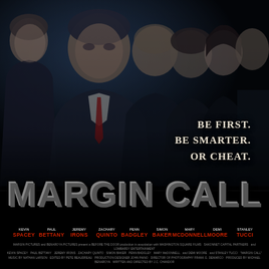[Figure (photo): Movie poster for 'Margin Call' featuring six actors in dark dramatic lighting against a near-black background. Left to right: an older man in suit, Kevin Spacey in suit with red tie, a bald man, a man with concerned expression, a woman, and a young man on the far right. The upper portion shows their faces and upper bodies in a tense, serious mood.]
BE FIRST.
BE SMARTER.
OR CHEAT.
MARGIN CALL
KEVIN SPACEY  PAUL BETTANY  JEREMY IRONS  ZACHARY QUINTO  PENN BADGLEY  SIMON BAKER  MARY McDONNELL  DEMI MOORE  STANLEY TUCCI
MARGIN PICTURES and BENAROYA PICTURES present a BEFORE THE DOOR production in association with WASHINGTON SQUARE FILMS SAKONNET CAPITAL PARTNERS and LOMBARDY ENTERTAINMENT KEVIN SPACEY  PAUL BETTANY  JEREMY IRONS  ZACHARY QUINTO  SIMON BAKER  PENN BADGLEY  MARY McDONNELL and DEMI MOORE and STANLEY TUCCI "MARGIN CALL" CASTING BY JOHN PAPSIDERA MUSIC BY NATHAN LARSON EDITED BY PETE BEAUDREAU PRODUCTION DESIGNER JOHN PAINO DIRECTOR OF PHOTOGRAPHY FRANK G. DEMARCO PRODUCED BY MICHAEL BENAROYA WRITTEN AND DIRECTED BY J.C. CHANDOR